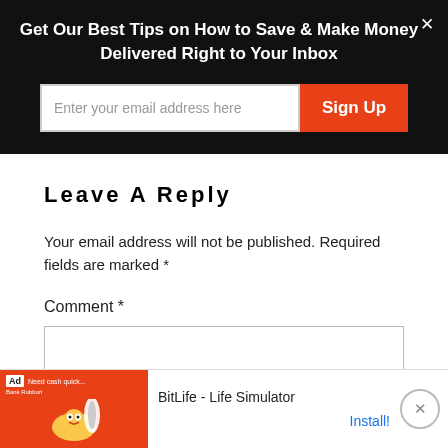Get Our Best Tips on How to Save & Make Money Delivered Right to Your Inbox
Enter your email address here
Sign Up
Leave A Reply
Your email address will not be published. Required fields are marked *
Comment *
[Figure (screenshot): Ad banner for BitLife - Life Simulator with install button]